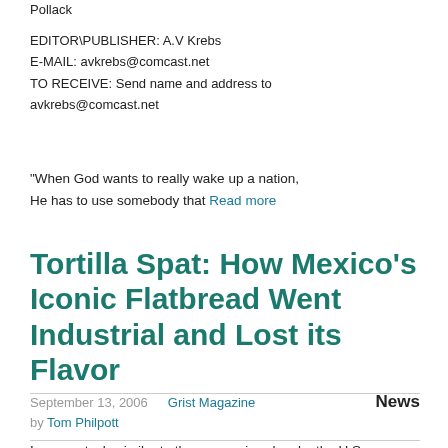Pollack
EDITOR\PUBLISHER: A.V Krebs
E-MAIL: avkrebs@comcast.net
TO RECEIVE: Send name and address to avkrebs@comcast.net
"When God wants to really wake up a nation, He has to use somebody that Read more
Tortilla Spat: How Mexico's Iconic Flatbread Went Industrial and Lost its Flavor
September 13, 2006   Grist Magazine   News
by Tom Philpott
In a spectacle similar to the one conjured up by the U.S. Supreme Court in 2000, a Mexican judiciary panel handed the